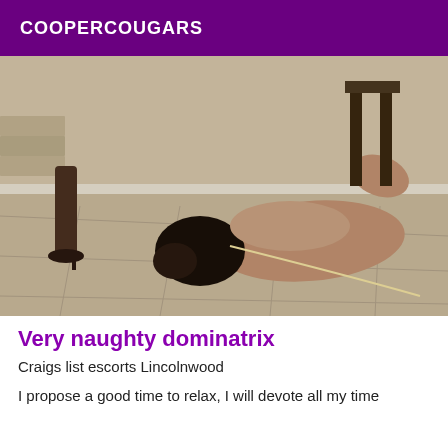COOPERCOUGARS
[Figure (photo): A person on the floor on all fours with dark hair, while another person stands nearby wearing high-heeled sandals, on a tile floor with stairs visible in background.]
Very naughty dominatrix
Craigs list escorts Lincolnwood
I propose a good time to relax, I will devote all my time